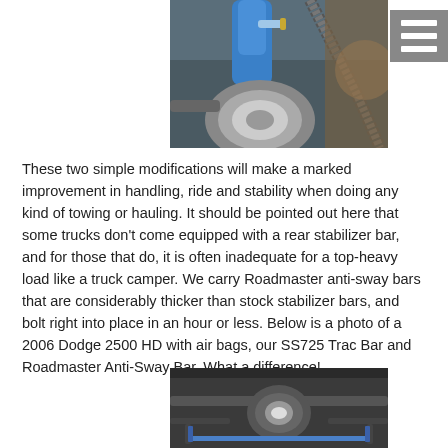[Figure (photo): Close-up photo of vehicle suspension/engine bay showing blue shock absorber or strut with hose fitting, metallic drum brake or wheel hub component, and braided hose in the background]
[Figure (photo): Hamburger menu icon - three white horizontal bars on gray background]
These two simple modifications will make a marked improvement in handling, ride and stability when doing any kind of towing or hauling. It should be pointed out here that some trucks don't come equipped with a rear stabilizer bar, and for those that do, it is often inadequate for a top-heavy load like a truck camper. We carry Roadmaster anti-sway bars that are considerably thicker than stock stabilizer bars, and bolt right into place in an hour or less. Below is a photo of a 2006 Dodge 2500 HD with air bags, our SS725 Trac Bar and Roadmaster Anti-Sway Bar. What a difference!
[Figure (photo): Undercarriage photo of a 2006 Dodge 2500 HD showing rear axle, spare tire, and suspension components with Roadmaster Anti-Sway Bar installed]